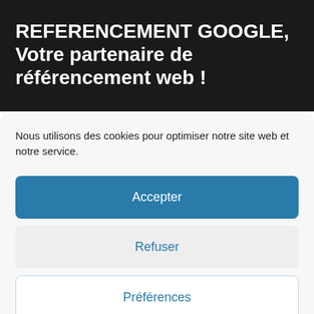REFERENCEMENT GOOGLE, Votre partenaire de référencement web !
Nous utilisons des cookies pour optimiser notre site web et notre service.
Accepter
Refuser
Préférences